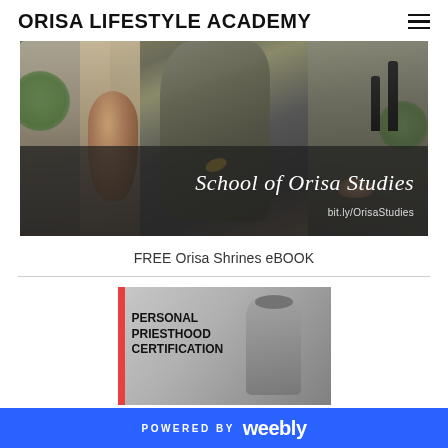ORISA LIFESTYLE ACADEMY
[Figure (photo): Photo of a natural stone shrine setting with pottery vases, rocks and bottles. Text overlay reads 'School of Orisa Studies' in italic script with 'bit.ly/OrisaStudies' below.]
FREE Orisa Shrines eBOOK
[Figure (photo): Book cover image with a red bar on left, gray-toned background with a figure, and bold text reading PERSONAL PRIESTHOOD CERTIFICATION]
POWERED BY weebly